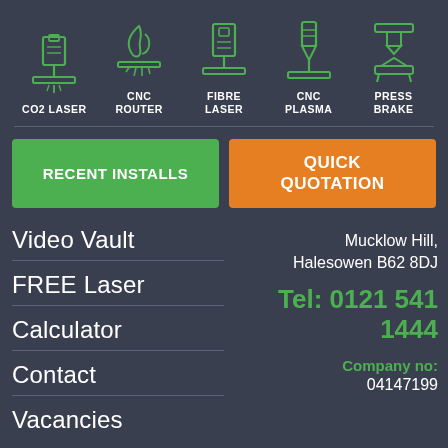[Figure (infographic): Five icons representing services: CO2 Laser, CNC Router, Fibre Laser, CNC Plasma, Press Brake — green line icons on dark background with labels]
RECENT INSTALLS
QUICK QUOTATION
Mucklow Hill, Halesowen B62 8DJ
Video Vault
Tel: 0121 541 1444
FREE Laser
Company no: 04147199
Calculator
Contact
Vacancies